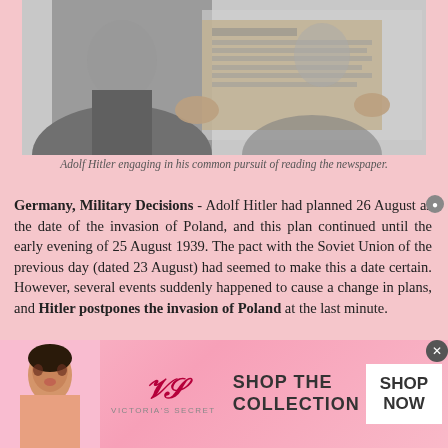[Figure (photo): Black and white historical photograph of Adolf Hitler reading a newspaper, shown from chest up, wearing a military uniform.]
Adolf Hitler engaging in his common pursuit of reading the newspaper.
Germany, Military Decisions - Adolf Hitler had planned 26 August as the date of the invasion of Poland, and this plan continued until the early evening of 25 August 1939. The pact with the Soviet Union of the previous day (dated 23 August) had seemed to make this a date certain. However, several events suddenly happened to cause a change in plans, and Hitler postpones the invasion of Poland at the last minute.
[Figure (advertisement): Victoria's Secret advertisement banner with a woman model on the left, VS logo in center, and 'SHOP THE COLLECTION' text with a 'SHOP NOW' button on the right.]